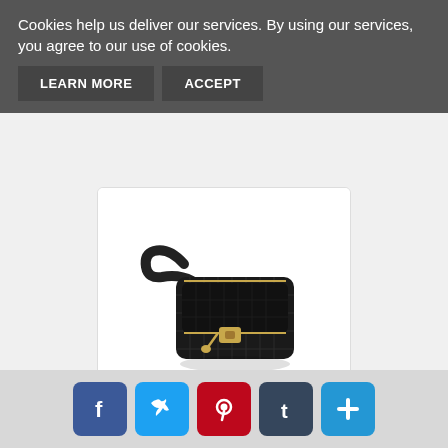Cookies help us deliver our services. By using our services, you agree to our use of cookies.
LEARN MORE
ACCEPT
[Figure (photo): Black quilted fanny pack / belt bag with gold zipper pulls and adjustable strap, shown on white background]
Fanny Packs for Women, Fashionable Belt ...
only $15.99
[Figure (infographic): Social sharing bar with five icons: Facebook (blue), Twitter (light blue), Pinterest (red), Tumblr (dark blue), and a plus/share button (blue)]